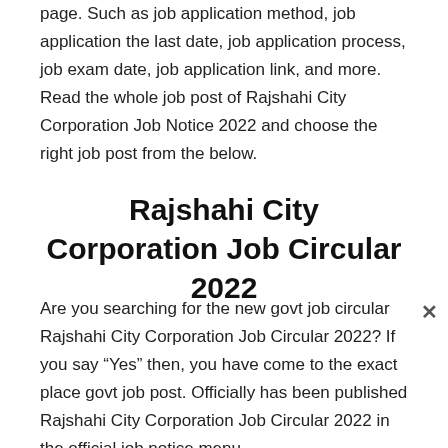page. Such as job application method, job application the last date, job application process, job exam date, job application link, and more. Read the whole job post of Rajshahi City Corporation Job Notice 2022 and choose the right job post from the below.
Rajshahi City Corporation Job Circular 2022
Are you searching for the new govt job circular Rajshahi City Corporation Job Circular 2022? If you say “Yes” then, you have come to the exact place govt job post. Officially has been published Rajshahi City Corporation Job Circular 2022 in the official job notice menu.